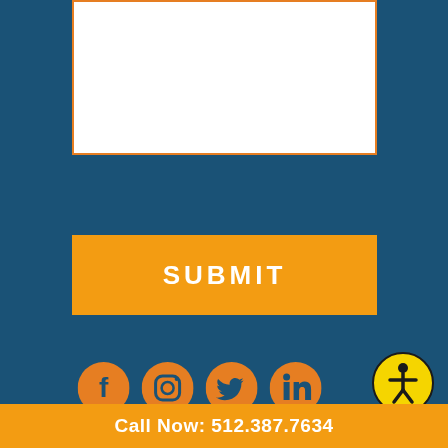[Figure (screenshot): White text input form area with orange border at top of page]
[Figure (screenshot): Orange SUBMIT button with white uppercase text]
[Figure (infographic): Dark blue footer area with social media icons (Facebook, Instagram, Twitter, LinkedIn) in orange circles, accessibility icon (person in circle) in yellow/black on the right]
[Figure (logo): All Dry mascot duck character with baseball cap and All Dry brand logo]
Call Now: 512.387.7634